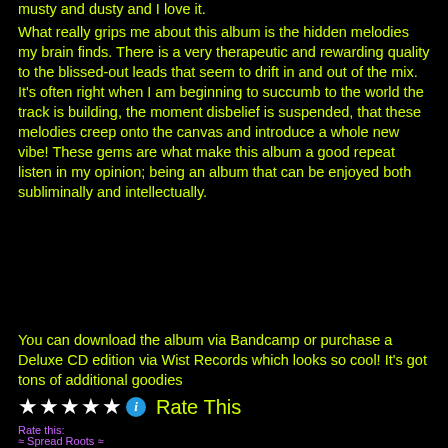musty and dusty and I love it.
What really grips me about this album is the hidden melodies my brain finds. There is a very therapeutic and rewarding quality to the blissed-out leads that seem to drift in and out of the mix.  It's often right when I am beginning to succumb to the world the track is building, the moment disbelief is suspended, that these melodies creep onto the canvas and introduce a whole new vibe! These gems are what make this album a good repeat listen in my opinion; being an album that can be enjoyed both subliminally and intellectually.
You can download the album via Bandcamp or purchase a Deluxe CD edition via Wist Records which looks so cool! It's got tons of additional goodies
Rate this:  ★★★★★ ℹ Rate This
≈ Spread Roots ≈